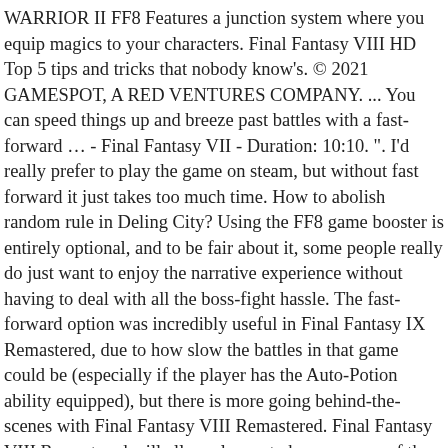WARRIOR II FF8 Features a junction system where you equip magics to your characters. Final Fantasy VIII HD Top 5 tips and tricks that nobody know's. © 2021 GAMESPOT, A RED VENTURES COMPANY. ... You can speed things up and breeze past battles with a fast-forward … - Final Fantasy VII - Duration: 10:10. ". I'd really prefer to play the game on steam, but without fast forward it just takes too much time. How to abolish random rule in Deling City? Using the FF8 game booster is entirely optional, and to be fair about it, some people really do just want to enjoy the narrative experience without having to deal with all the boss-fight hassle. The fast-forward option was incredibly useful in Final Fantasy IX Remastered, due to how slow the battles in that game could be (especially if the player has the Auto-Potion ability equipped), but there is more going behind-the-scenes with Final Fantasy VIII Remastered. Final Fantasy VIII Remastered will allow players to bypass some of the trickier sections from the original version of the game with the help of new features that act in a similar manner to cheats. Final Fantasy VIII Remastered will allow players to bypass some of the trickier sections from the original version of the game. So, on the steam version, the